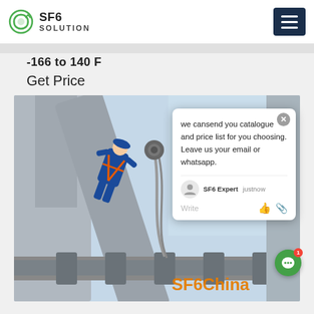[Figure (logo): SF6 Solution company logo with green circular recycling icon]
-166 to 140 F
Get Price
[Figure (photo): Worker in blue coveralls and safety harness climbing industrial gas pipeline equipment at height, viewed from below looking up at the structure. SF6China watermark in orange at bottom right.]
we cansend you catalogue and price list for you choosing. Leave us your email or whatsapp.
SF6 Expert  justnow
Write